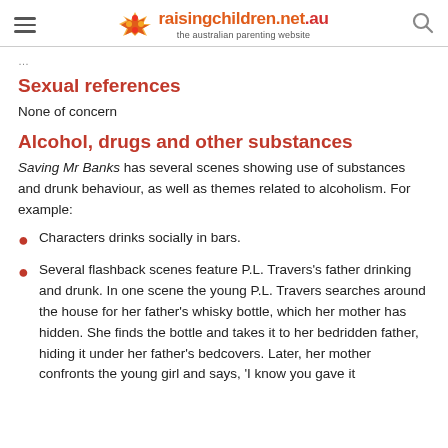raisingchildren.net.au — the australian parenting website
Sexual references
None of concern
Alcohol, drugs and other substances
Saving Mr Banks has several scenes showing use of substances and drunk behaviour, as well as themes related to alcoholism. For example:
Characters drinks socially in bars.
Several flashback scenes feature P.L. Travers's father drinking and drunk. In one scene the young P.L. Travers searches around the house for her father's whisky bottle, which her mother has hidden. She finds the bottle and takes it to her bedridden father, hiding it under her father's bedcovers. Later, her mother confronts the young girl and says, 'I know you gave it